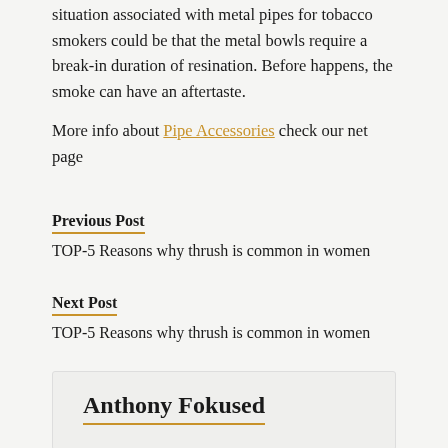situation associated with metal pipes for tobacco smokers could be that the metal bowls require a break-in duration of resination. Before happens, the smoke can have an aftertaste.
More info about Pipe Accessories check our net page
Previous Post
TOP-5 Reasons why thrush is common in women
Next Post
TOP-5 Reasons why thrush is common in women
Anthony Fokused